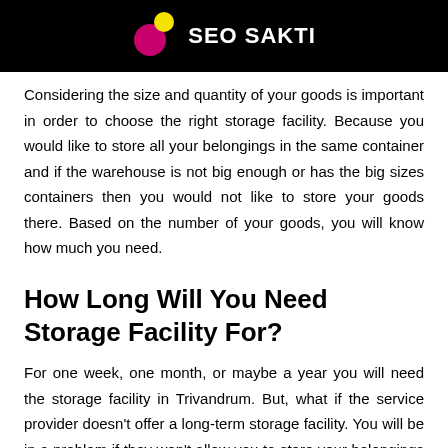SEO SAKTI
Considering the size and quantity of your goods is important in order to choose the right storage facility. Because you would like to store all your belongings in the same container and if the warehouse is not big enough or has the big sizes containers then you would not like to store your goods there. Based on the number of your goods, you will know how much you need.
How Long Will You Need Storage Facility For?
For one week, one month, or maybe a year you will need the storage facility in Trivandrum. But, what if the service provider doesn't offer a long-term storage facility. You will be in a problem if they won't allow you to store your belongings for more than a month or a year in their warehouse. Thus, it's